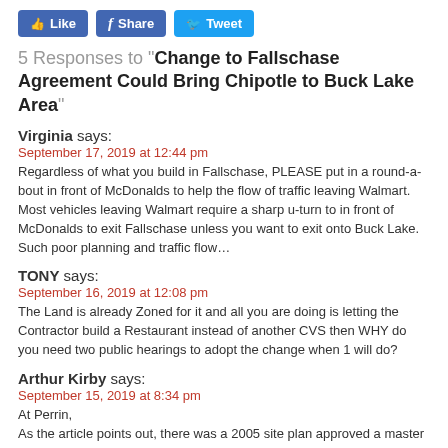[Figure (other): Social media sharing buttons: Like, Share, Tweet]
5 Responses to "Change to Fallschase Agreement Could Bring Chipotle to Buck Lake Area"
Virginia says:
September 17, 2019 at 12:44 pm
Regardless of what you build in Fallschase, PLEASE put in a round-a-bout in front of McDonalds to help the flow of traffic leaving Walmart. Most vehicles leaving Walmart require a sharp u-turn to in front of McDonalds to exit Fallschase unless you want to exit onto Buck Lake. Such poor planning and traffic flow…
TONY says:
September 16, 2019 at 12:08 pm
The Land is already Zoned for it and all you are doing is letting the Contractor build a Restaurant instead of another CVS then WHY do you need two public hearings to adopt the change when 1 will do?
Arthur Kirby says:
September 15, 2019 at 8:34 pm
At Perrin,
As the article points out, there was a 2005 site plan approved a master development plan for what was supposed to be a pristine residential